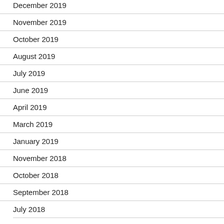December 2019
November 2019
October 2019
August 2019
July 2019
June 2019
April 2019
March 2019
January 2019
November 2018
October 2018
September 2018
July 2018